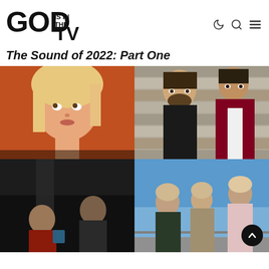GOD IS IN THE TV
The Sound of 2022: Part One
[Figure (photo): A 2x2 grid of artist photos: top-left is a young blonde woman with orange/red tinted background looking up; top-right shows two men one with beard one in a white/maroon sports jacket against a stone wall; bottom-left shows two men in a dark moody scene; bottom-right shows three young people standing against a bright blue sky.]